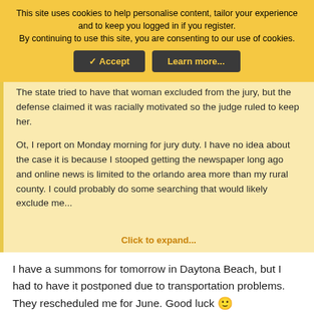This site uses cookies to help personalise content, tailor your experience and to keep you logged in if you register.
By continuing to use this site, you are consenting to our use of cookies.
✓ Accept | Learn more...
The state tried to have that woman excluded from the jury, but the defense claimed it was racially motivated so the judge ruled to keep her.

Ot, I report on Monday morning for jury duty. I have no idea about the case it is because I stooped getting the newspaper long ago and online news is limited to the orlando area more than my rural county. I could probably do some searching that would likely exclude me...
Click to expand...
I have a summons for tomorrow in Daytona Beach, but I had to have it postponed due to transportation problems. They rescheduled me for June. Good luck 🙂